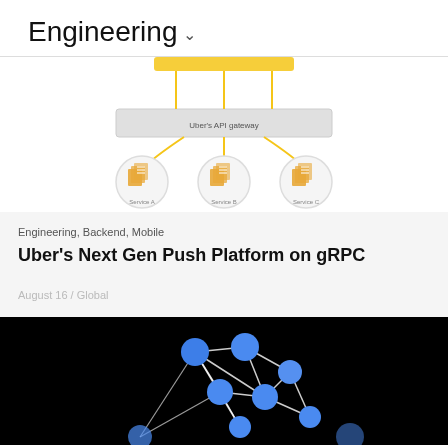Engineering
[Figure (network-graph): Architecture diagram showing Uber's API gateway connected via yellow lines to three service nodes (Service A, Service B, Service C) each represented by stacked document icons in orange, with yellow horizontal bar at top.]
Engineering, Backend, Mobile
Uber's Next Gen Push Platform on gRPC
August 16 / Global
[Figure (illustration): Dark/black background showing a network graph with blue circular nodes connected by white lines forming a mesh/neural network pattern.]